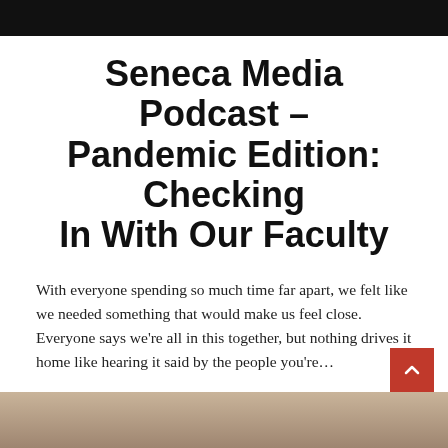Seneca Media Podcast – Pandemic Edition: Checking In With Our Faculty
With everyone spending so much time far apart, we felt like we needed something that would make us feel close. Everyone says we're all in this together, but nothing drives it home like hearing it said by the people you're…
READ MORE
[Figure (photo): Partial bottom photo showing a person, cropped at the bottom of the page]